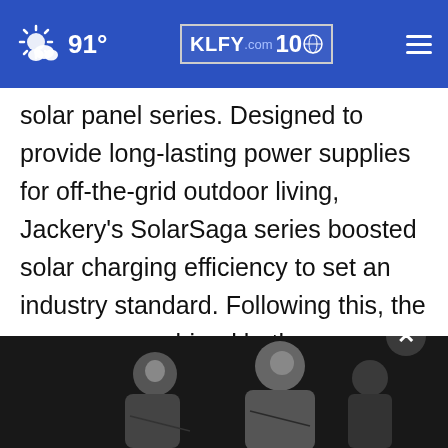91° KLFY.com 10
solar panel series. Designed to provide long-lasting power supplies for off-the-grid outdoor living, Jackery's SolarSaga series boosted solar charging efficiency to set an industry standard. Following this, the company combined both technologies into the Solar Generator, which combines the Explorer and SolarSaga into one clean energy solution to make electricity even more green, efficient and convenient, contributing to the emergence of several chart-topping solar Generator 1000...
[Figure (photo): Black and white photo of people, partially obscured by video overlay player, with a close button (X) in dark circle at top right of the overlay]